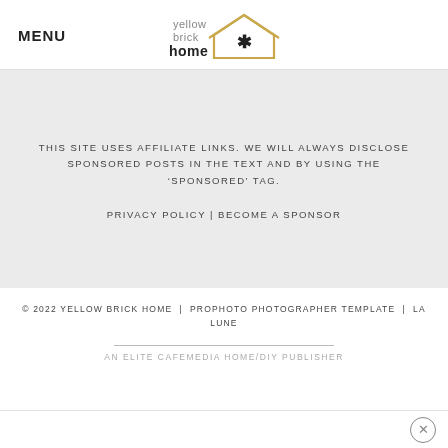MENU
[Figure (logo): Yellow Brick Home logo with house outline in gold/yellow and a star, text reads 'yellow brick home']
THIS SITE USES AFFILIATE LINKS. WE WILL ALWAYS DISCLOSE SPONSORED POSTS IN THE TEXT AND BY USING THE 'SPONSORED' TAG.
PRIVACY POLICY | BECOME A SPONSOR
© 2022 YELLOW BRICK HOME  |  PROPHOTO PHOTOGRAPHER TEMPLATE  |  LA LUNE
AN ELITE CAFEMEDIA HOME/DIY PUBLISHER